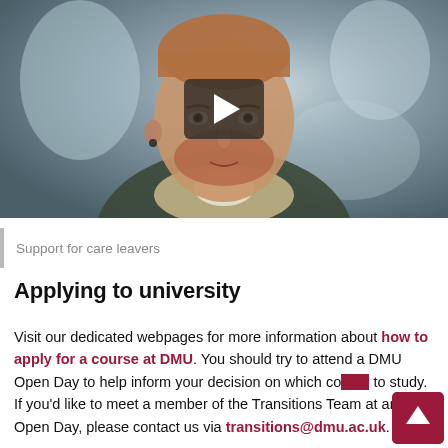[Figure (photo): Video thumbnail showing a young man with red beard wearing a dark jacket with sherpa collar, in a blurred interior setting, with a dark play button overlay in the center.]
Support for care leavers
Applying to university
Visit our dedicated webpages for more information about how to apply for a course at DMU. You should try to attend a DMU Open Day to help inform your decision on which course to study. If you'd like to meet a member of the Transitions Team at an Open Day, please contact us via transitions@dmu.ac.uk.